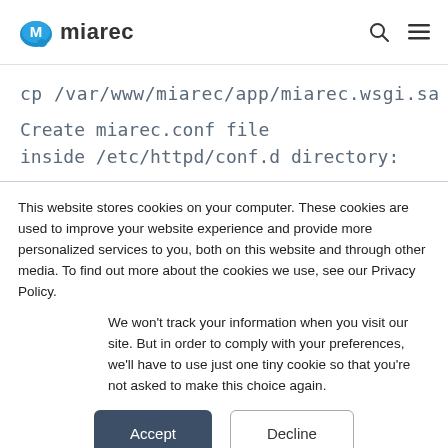miarec
cp /var/www/miarec/app/miarec.wsgi.sa
Create miarec.conf file inside /etc/httpd/conf.d directory:
This website stores cookies on your computer. These cookies are used to improve your website experience and provide more personalized services to you, both on this website and through other media. To find out more about the cookies we use, see our Privacy Policy.
We won't track your information when you visit our site. But in order to comply with your preferences, we'll have to use just one tiny cookie so that you're not asked to make this choice again.
Accept  Decline